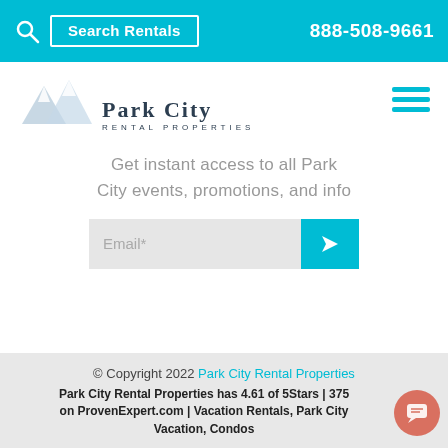Search Rentals  888-508-9661
[Figure (logo): Park City Rental Properties logo with mountain peaks illustration]
Get instant access to all Park City events, promotions, and info
[Figure (screenshot): Email input field with cyan submit arrow button]
© Copyright 2022 Park City Rental Properties
Park City Rental Properties has 4.61 of 5Stars | 375 on ProvenExpert.com | Vacation Rentals, Park City Vacation, Condos